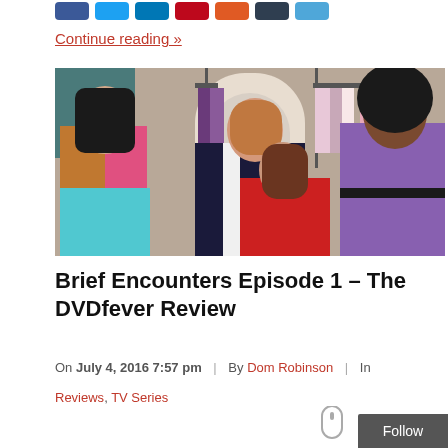[Figure (other): Social media sharing buttons: Facebook, Twitter, LinkedIn, Pinterest, Email, Digg, Print]
Continue reading »
[Figure (photo): Four women posing together in a clothing store/boutique. From left: a plus-size woman in colorful jacket and pink top with turquoise skirt; an older woman in dark navy blazer with white trim; a young woman in red jacket seated; a Black woman in purple outfit.]
Brief Encounters Episode 1 – The DVDfever Review
On July 4, 2016 7:57 pm  |  By Dom Robinson  |  In
Reviews, TV Series